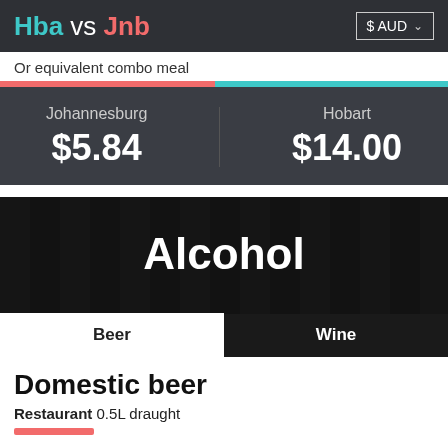Hba vs Jnb $ AUD
Or equivalent combo meal
[Figure (bar-chart): Combo meal comparison]
Alcohol
Beer   Wine
Domestic beer
Restaurant 0.5L draught